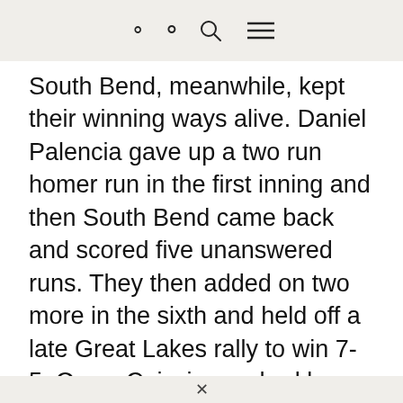🔍 ☰
South Bend, meanwhile, kept their winning ways alive. Daniel Palencia gave up a two run homer run in the first inning and then South Bend came back and scored five unanswered runs. They then added on two more in the sixth and held off a late Great Lakes rally to win 7-5. Owen Caissie reached base four times today as he had two singles and two walks but that was not good enough to win today's Hitter of the
×